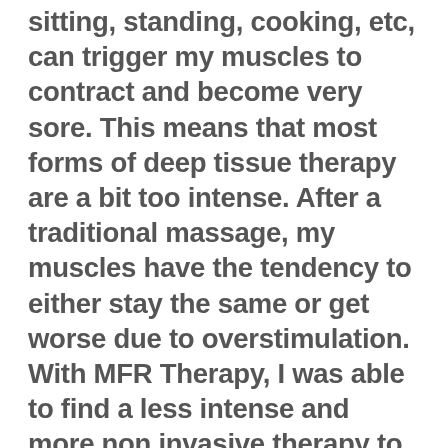sitting, standing, cooking, etc, can trigger my muscles to contract and become very sore. This means that most forms of deep tissue therapy are a bit too intense. After a traditional massage, my muscles have the tendency to either stay the same or get worse due to overstimulation. With MFR Therapy, I was able to find a less intense and more non invasive therapy to offer me consistent relief. At the very least, a massage allows my body to reset before it goes back to being tight again. At its best, I have experienced some long term changes that have provided me with a better